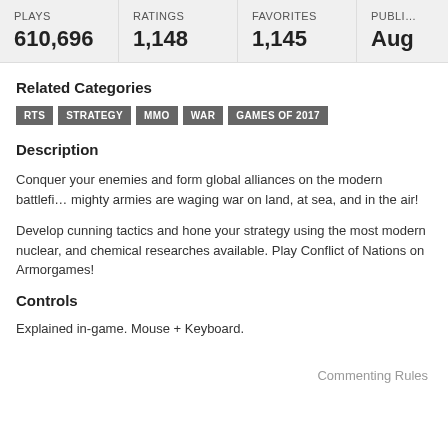| PLAYS | RATINGS | FAVORITES | PUBLI… |
| --- | --- | --- | --- |
| 610,696 | 1,148 | 1,145 | Aug |
Related Categories
RTS  STRATEGY  MMO  WAR  GAMES OF 2017
Description
Conquer your enemies and form global alliances on the modern battlefi… mighty armies are waging war on land, at sea, and in the air!
Develop cunning tactics and hone your strategy using the most modern nuclear, and chemical researches available. Play Conflict of Nations on Armorgames!
Controls
Explained in-game. Mouse + Keyboard.
Commenting Rules